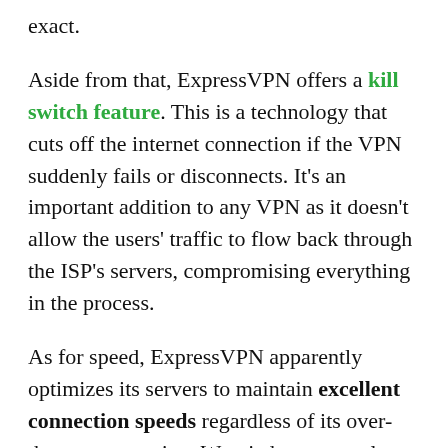exact.
Aside from that, ExpressVPN offers a kill switch feature. This is a technology that cuts off the internet connection if the VPN suddenly fails or disconnects. It's an important addition to any VPN as it doesn't allow the users' traffic to flow back through the ISP's servers, compromising everything in the process.
As for speed, ExpressVPN apparently optimizes its servers to maintain excellent connection speeds regardless of its over-the-top encryption. We tried out several servers during our tests and not one of them affected our streaming or browsing activities.